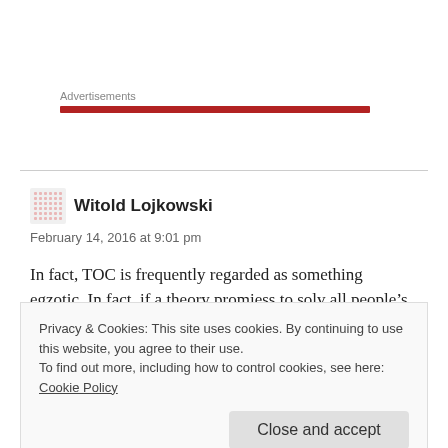Advertisements
Witold Lojkowski
February 14, 2016 at 9:01 pm
In fact, TOC is frequently regarded as something egzotic. In fact, if a theory promiess to solv all people’s prooblems, it may sound suspicious. There
Privacy & Cookies: This site uses cookies. By continuing to use this website, you agree to their use.
To find out more, including how to control cookies, see here: Cookie Policy
Close and accept